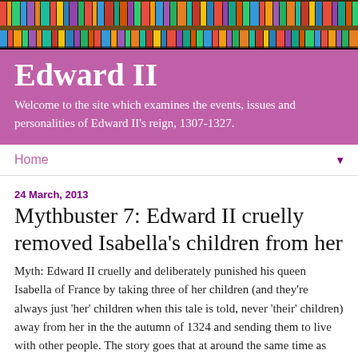[Figure (photo): Colorful bookshelf photo at the top of the page]
Edward II
Welcome to the site which examines the events, issues and personalities of Edward II's reign, 1307-1327.
Home ▼
24 March, 2013
Mythbuster 7: Edward II cruelly removed Isabella's children from her
Myth: Edward II cruelly and deliberately punished his queen Isabella of France by taking three of her children (and they're always just 'her' children when this tale is told, never 'their' children) away from her in the the autumn of 1324 and sending them to live with other people.  The story goes that at around the same time as Edward confiscated Isabella's lands in exchange for a much smaller income and removed her French servants from her household in September 1324, he also sent away with brutal...